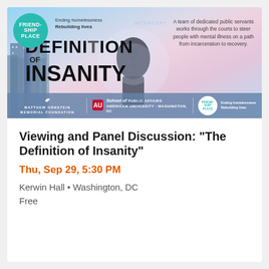[Figure (illustration): Event banner for 'The Definition of Insanity' film screening showing city skyline background, Friendship Place logo, film title in large bold text, description about mental illness and court diversion, logos of Matthew Ornstein Memorial Foundation, AU School of Public Affairs, and Friendship Place.]
Viewing and Panel Discussion: "The Definition of Insanity"
Thu, Sep 29, 5:30 PM
Kerwin Hall • Washington, DC
Free